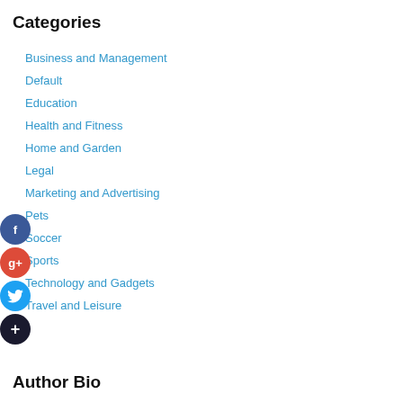Categories
Business and Management
Default
Education
Health and Fitness
Home and Garden
Legal
Marketing and Advertising
Pets
Soccer
Sports
Technology and Gadgets
Travel and Leisure
Author Bio